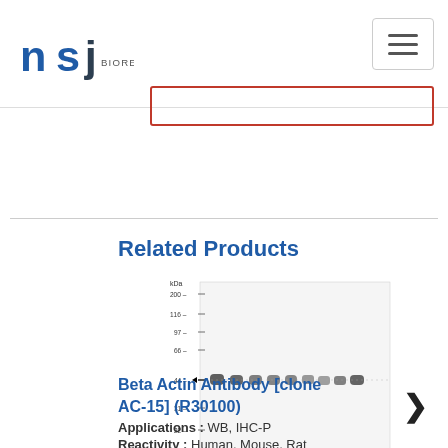NSJ Bioreagents
Related Products
[Figure (other): Western blot image showing Beta Actin antibody result. Y-axis shows molecular weight markers: kDa, 200-, 116-, 97-, 66-, 44-, 31-, 22-, 14-, 6-. Bands appear at 44 kDa across 9 lanes. X-axis shows lane numbers 1 through 9.]
Beta Actin Antibody [clone AC-15] (R30100)
Applications : WB, IHC-P
Reactivity : Human, Mouse, Rat